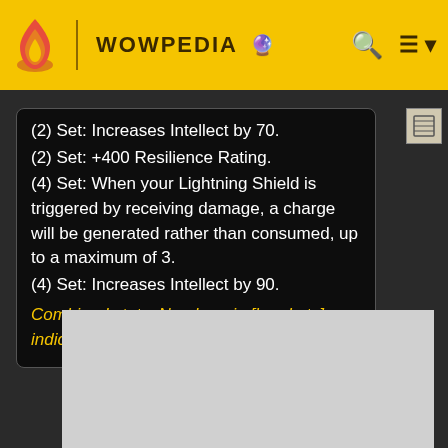WOWPEDIA
(2) Set: Increases Intellect by 70.
(2) Set: +400 Resilience Rating.
(4) Set: When your Lightning Shield is triggered by receiving damage, a charge will be generated rather than consumed, up to a maximum of 3.
(4) Set: Increases Intellect by 90.
Combined stats. Numbers in [brackets] indicate socket bonuses
[Figure (other): Advertisement placeholder (grey rectangle)]